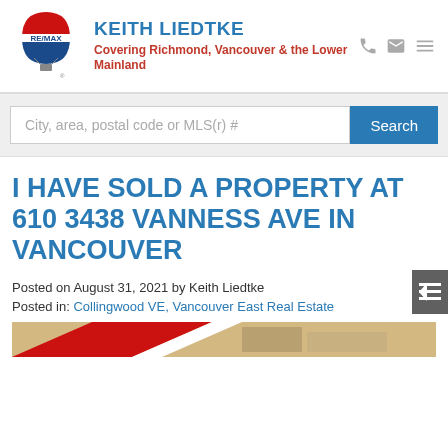KEITH LIEDTKE — Covering Richmond, Vancouver & the Lower Mainland
City, area, postal code or MLS(r) #
I HAVE SOLD A PROPERTY AT 610 3438 VANNESS AVE IN VANCOUVER
Posted on August 31, 2021  by Keith Liedtke
Posted in: Collingwood VE, Vancouver East Real Estate
[Figure (photo): Partial photo of a RE/MAX sold sign or property image at the bottom of the page]